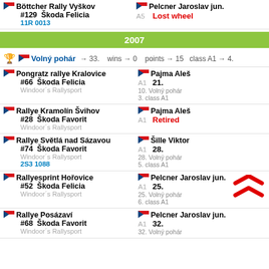Böttcher Rally Vyškov #129 Škoda Felicia 11R 0013 | Pelcner Jaroslav jun. A5 Lost wheel
2007
Volný pohár → 33. wins → 0 points → 15 class A1 → 4.
Pongratz rallye Kralovice #66 Škoda Felicia Windoor's Rallysport | Pajma Aleš A1 21. 10. Volný pohár 3. class A1
Rallye Kramolín Švihov #28 Škoda Favorit Windoor's Rallysport | Pajma Aleš A1 Retired
Rallye Světlá nad Sázavou #74 Škoda Favorit Windoor's Rallysport 2S3 1088 | Šille Viktor A1 28. 28. Volný pohár 5. class A1
Rallyesprint Hořovice #52 Škoda Felicia Windoor's Rallysport | Pelcner Jaroslav jun. A1 25. 25. Volný pohár 6. class A1
Rallye Posázaví #68 Škoda Favorit Windoor's Rallysport | Pelcner Jaroslav jun. A1 32. 32. Volný pohár